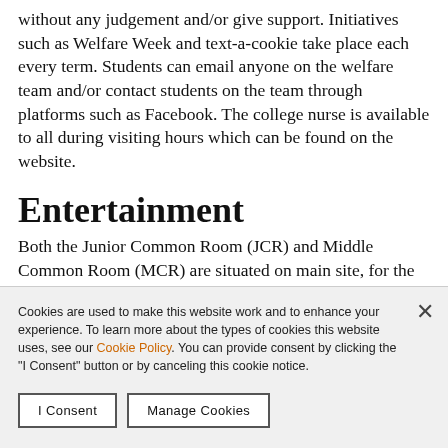without any judgement and/or give support. Initiatives such as Welfare Week and text-a-cookie take place each every term. Students can email anyone on the welfare team and/or contact students on the team through platforms such as Facebook. The college nurse is available to all during visiting hours which can be found on the website.
Entertainment
Both the Junior Common Room (JCR) and Middle Common Room (MCR) are situated on main site, for the use of undergrads and postgrads respectively. In
Cookies are used to make this website work and to enhance your experience. To learn more about the types of cookies this website uses, see our Cookie Policy. You can provide consent by clicking the "I Consent" button or by canceling this cookie notice.
I Consent
Manage Cookies